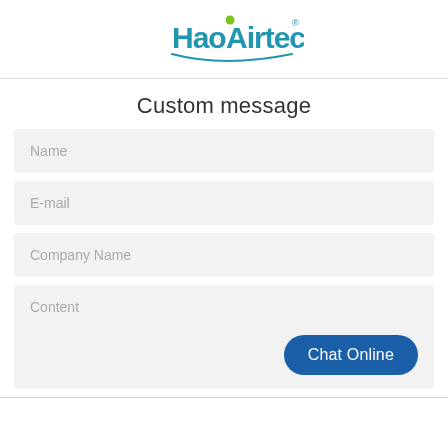[Figure (logo): HaoAirtech company logo with blue and green text and decorative dots]
Custom message
Name
E-mail
Company Name
Content
Chat Online